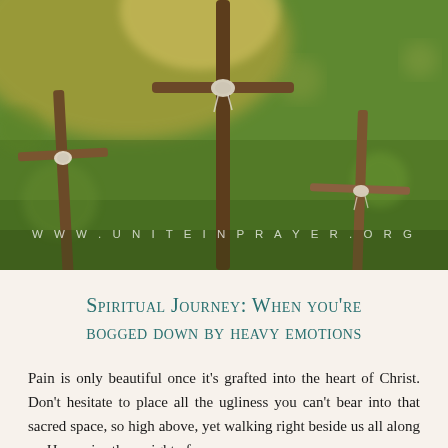[Figure (photo): Three wooden crosses made of sticks tied with white twine/rope, set against a blurred green and golden bokeh background. The crosses are arranged at varying depths in the foreground.]
www.uniteinprayer.org
Spiritual Journey: When you're bogged down by heavy emotions
Pain is only beautiful once it's grafted into the heart of Christ. Don't hesitate to place all the ugliness you can't bear into that sacred space, so high above, yet walking right beside us all along … He carries the weight of our